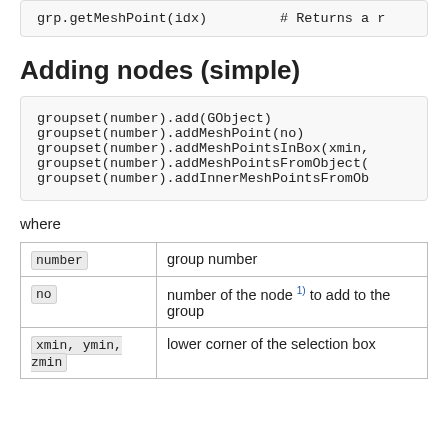grp.getMeshPoint(idx)    # Returns a r
Adding nodes (simple)
groupset(number).add(GObject)
groupset(number).addMeshPoint(no)
groupset(number).addMeshPointsInBox(xmin,
groupset(number).addMeshPointsFromObject(
groupset(number).addInnerMeshPointsFromOb
where
| Parameter | Description |
| --- | --- |
| number | group number |
| no | number of the node 1) to add to the group |
| xmin, ymin, zmin | lower corner of the selection box |